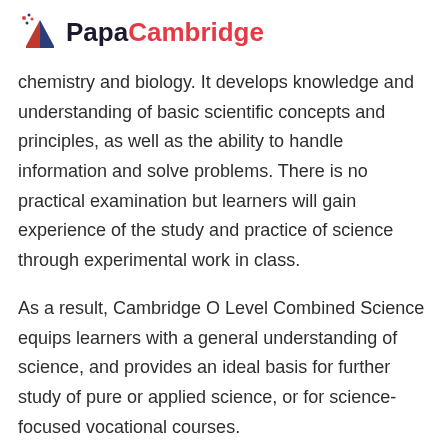PapaCambridge
chemistry and biology. It develops knowledge and understanding of basic scientific concepts and principles, as well as the ability to handle information and solve problems. There is no practical examination but learners will gain experience of the study and practice of science through experimental work in class.
As a result, Cambridge O Level Combined Science equips learners with a general understanding of science, and provides an ideal basis for further study of pure or applied science, or for science-focused vocational courses.
Good To Know 🔖